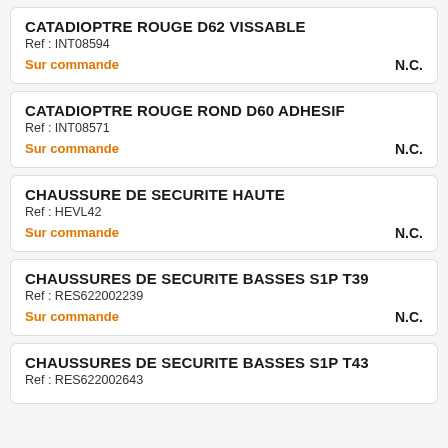CATADIOPTRE ROUGE D62 VISSABLE
Ref : INT08594
Sur commande
N.C.
CATADIOPTRE ROUGE ROND D60 ADHESIF
Ref : INT08571
Sur commande
N.C.
CHAUSSURE DE SECURITE HAUTE
Ref : HEVL42
Sur commande
N.C.
CHAUSSURES DE SECURITE BASSES S1P T39
Ref : RES622002239
Sur commande
N.C.
CHAUSSURES DE SECURITE BASSES S1P T43
Ref : RES622002643